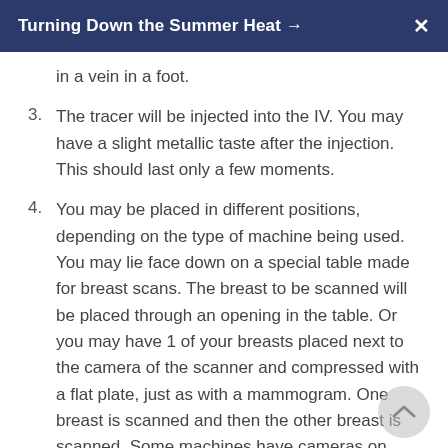Turning Down the Summer Heat →
in a vein in a foot.
3. The tracer will be injected into the IV. You may have a slight metallic taste after the injection. This should last only a few moments.
4. You may be placed in different positions, depending on the type of machine being used. You may lie face down on a special table made for breast scans. The breast to be scanned will be placed through an opening in the table. Or you may have 1 of your breasts placed next to the camera of the scanner and compressed with a flat plate, just as with a mammogram. One breast is scanned and then the other breast is scanned. Some machines have cameras on each side of the breast.